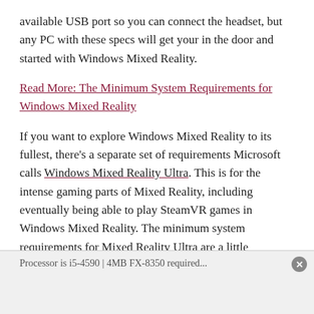available USB port so you can connect the headset, but any PC with these specs will get your in the door and started with Windows Mixed Reality.
Read More: The Minimum System Requirements for Windows Mixed Reality
If you want to explore Windows Mixed Reality to its fullest, there's a separate set of requirements Microsoft calls Windows Mixed Reality Ultra. This is for the intense gaming parts of Mixed Reality, including eventually being able to play SteamVR games in Windows Mixed Reality. The minimum system requirements for Mixed Reality Ultra are a little different.
Processor is i5-4590 | 4MB FX-8350 required...